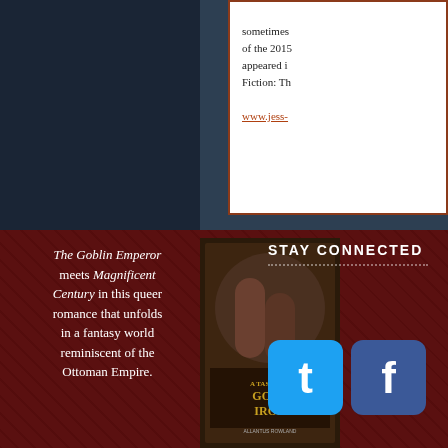[Figure (photo): Dark blue-gray background image upper left, partially showing background scene]
sometimes of the 2015 appeared i Fiction: Th www.jess-
The Goblin Emperor meets Magnificent Century in this queer romance that unfolds in a fantasy world reminiscent of the Ottoman Empire.
[Figure (photo): Book cover of 'A Taste of Gold Iron' by Allantus Rowland showing a couple in Ottoman-inspired fantasy setting]
STAY CONNECTED
[Figure (other): Twitter social media icon button (blue)]
[Figure (other): Facebook social media icon button (dark blue)]